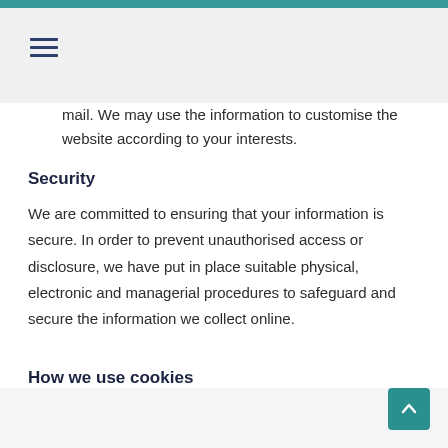mail. We may use the information to customise the website according to your interests.
Security
We are committed to ensuring that your information is secure. In order to prevent unauthorised access or disclosure, we have put in place suitable physical, electronic and managerial procedures to safeguard and secure the information we collect online.
How we use cookies